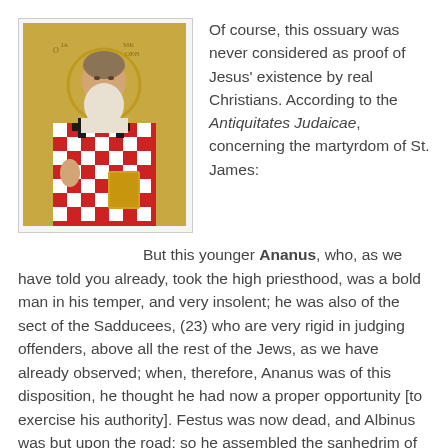[Figure (illustration): Byzantine-style icon of a bearded saint in episcopal vestments with a halo, holding a book, on a gold background]
Of course, this ossuary was never considered as proof of Jesus' existence by real Christians. According to the Antiquitates Judaicae, concerning the martyrdom of St. James:
But this younger Ananus, who, as we have told you already, took the high priesthood, was a bold man in his temper, and very insolent; he was also of the sect of the Sadducees, (23) who are very rigid in judging offenders, above all the rest of the Jews, as we have already observed; when, therefore, Ananus was of this disposition, he thought he had now a proper opportunity [to exercise his authority]. Festus was now dead, and Albinus was but upon the road: so he assembled the sanhedrim of